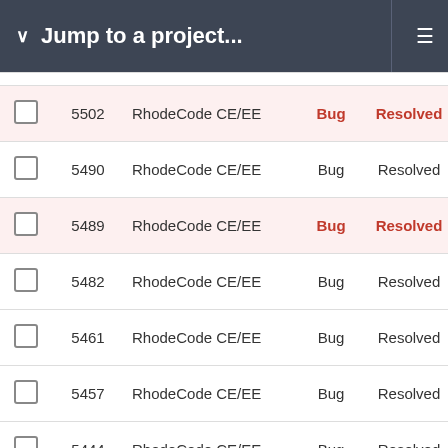Jump to a project...
|  | # | Project | Type | Status |
| --- | --- | --- | --- | --- |
|  | 5502 | RhodeCode CE/EE | Bug | Resolved |
|  | 5490 | RhodeCode CE/EE | Bug | Resolved |
|  | 5489 | RhodeCode CE/EE | Bug | Resolved |
|  | 5482 | RhodeCode CE/EE | Bug | Resolved |
|  | 5461 | RhodeCode CE/EE | Bug | Resolved |
|  | 5457 | RhodeCode CE/EE | Bug | Resolved |
|  | 5444 | RhodeCode CE/EE | Bug | Resolved |
|  | 5436 | RhodeCode CE/EE | Bug | Resolved |
|  | 5434 | RhodeCode CE/EE | Bug | Resolved |